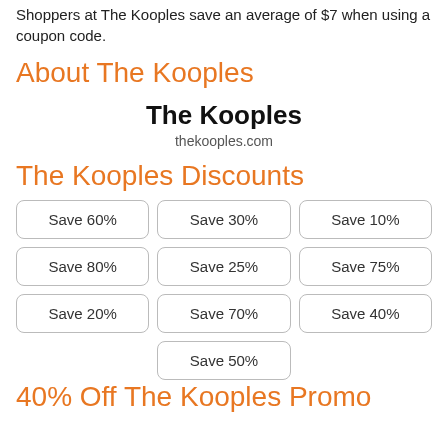Shoppers at The Kooples save an average of $7 when using a coupon code.
About The Kooples
The Kooples
thekooples.com
The Kooples Discounts
Save 60%
Save 30%
Save 10%
Save 80%
Save 25%
Save 75%
Save 20%
Save 70%
Save 40%
Save 50%
40% Off The Kooples Promo